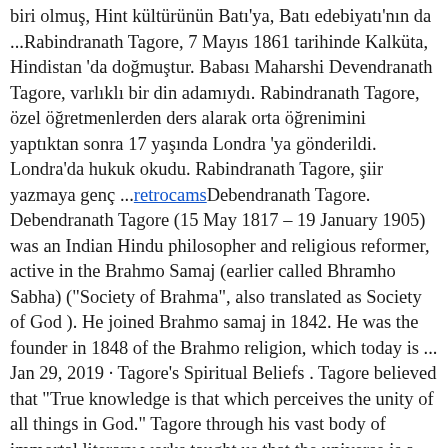biri olmuş, Hint kültürünün Batı'ya, Batı edebiyatı'nın da ...Rabindranath Tagore, 7 Mayıs 1861 tarihinde Kalküta, Hindistan 'da doğmuştur. Babası Maharshi Devendranath Tagore, varlıklı bir din adamıydı. Rabindranath Tagore, özel öğretmenlerden ders alarak orta öğrenimini yaptıktan sonra 17 yaşında Londra 'ya gönderildi. Londra'da hukuk okudu. Rabindranath Tagore, şiir yazmaya genç ...retrocamsDebendranath Tagore. Debendranath Tagore (15 May 1817 – 19 January 1905) was an Indian Hindu philosopher and religious reformer, active in the Brahmo Samaj (earlier called Bhramho Sabha) ("Society of Brahma", also translated as Society of God ). He joined Brahmo samaj in 1842. He was the founder in 1848 of the Brahmo religion, which today is ... Jan 29, 2019 · Tagore's Spiritual Beliefs . Tagore believed that "True knowledge is that which perceives the unity of all things in God." Tagore through his vast body of immortal literary works taught us that the universe is a manifestation of God, and that there is no unbridgeable gulf between our world and God's, and that God is the one who can provide the greatest love and joy. 1 day ago · Rabindranath Tagore Death Anniversary: The Bard of Bengal, Rabindranath Tagore, was a world-renowned poet, composer, playwright, painter and social reformer among other things. His collection of poems, Gitanjali, created a paradigm shift in Bengali literature, while his songs did the same to Bengali music. On the 82nd anniversary of his passing, we look at some lesser-known facts of his life ... Jan 29, 2019 · Tagore's Spiritual Beliefs . Tagore believed that "True knowledge is that which perceives the unity of all things in God."